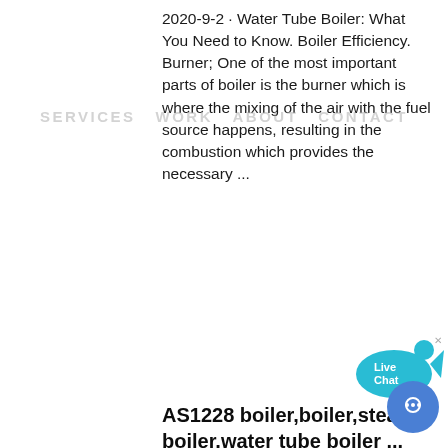2020-9-2 · Water Tube Boiler: What You Need to Know. Boiler Efficiency. Burner; One of the most important parts of boiler is the burner which is where the mixing of the air with the fuel source happens, resulting in the combustion which provides the necessary ...
SERVICES  WORK  ABOUT  CONTACT
[Figure (illustration): Live Chat speech bubble widget in cyan/blue color with fish-like shape and 'Live Chat' text inside]
AS1228 boiler,boiler,steam boiler,water tube boiler ...
COLOR:
Orange
Blue
Yellow
china boiler,boiler in china,thermal power plant,china steam boiler,steam turbine,absorption chiller,china gas boiler,china water boiler,china oil boiler,china biomass boiler,china wood boiler,china coal boiler,Qingdao Just Boiler
[Figure (illustration): Round blue chat/message icon button at bottom right corner]